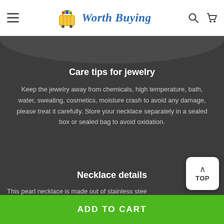Worth Buying
Care tips for jewelry
Keep the jewelry away from chemicals, high temperature, bath, water, sweating, cosmetics, moisture crash to avoid any damage, please treat it carefully. Store your necklace separately in a sealed box or sealed bag to avoid oxidation.
Necklace details
This pearl necklace is made out of stainless stee...
ADD TO CART